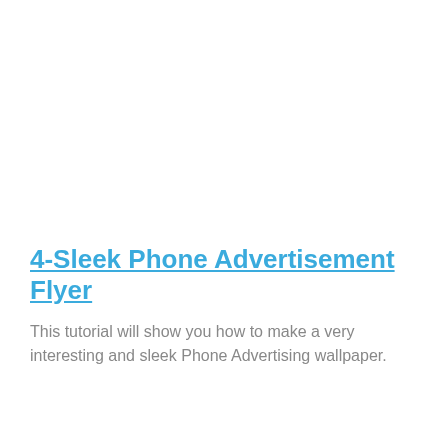4-Sleek Phone Advertisement Flyer
This tutorial will show you how to make a very interesting and sleek Phone Advertising wallpaper.